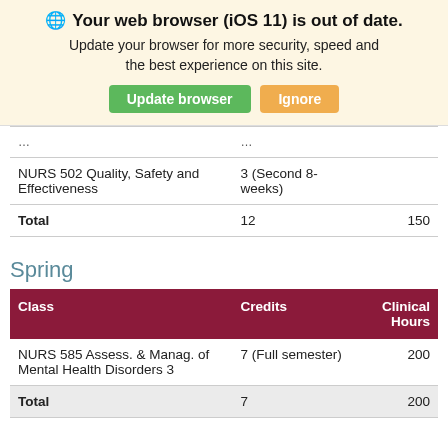🌐 Your web browser (iOS 11) is out of date. Update your browser for more security, speed and the best experience on this site. [Update browser] [Ignore]
| Class | Credits | Clinical Hours |
| --- | --- | --- |
| NURS 502 Quality, Safety and Effectiveness | 3 (Second 8-weeks) |  |
| Total | 12 | 150 |
Spring
| Class | Credits | Clinical Hours |
| --- | --- | --- |
| NURS 585 Assess. & Manag. of Mental Health Disorders 3 | 7 (Full semester) | 200 |
| Total | 7 | 200 |